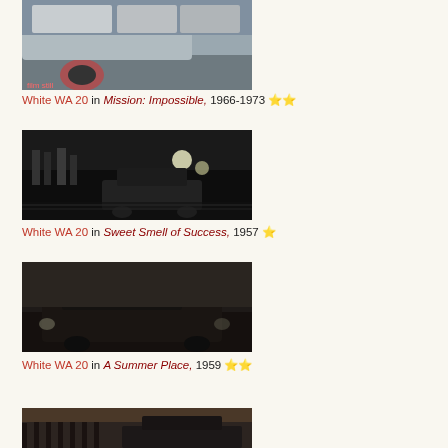[Figure (photo): Film still showing a white WA 20 car, partial view, from Mission: Impossible TV series]
White WA 20 in Mission: Impossible, 1966-1973 ★★
[Figure (photo): Film still showing a white WA 20 car in a dark night street scene from Sweet Smell of Success]
White WA 20 in Sweet Smell of Success, 1957 ★
[Figure (photo): Film still showing a white WA 20 car at night from A Summer Place, 1959]
White WA 20 in A Summer Place, 1959 ★★
[Figure (photo): Film still (partially visible, bottom of page) showing a dark vehicle]